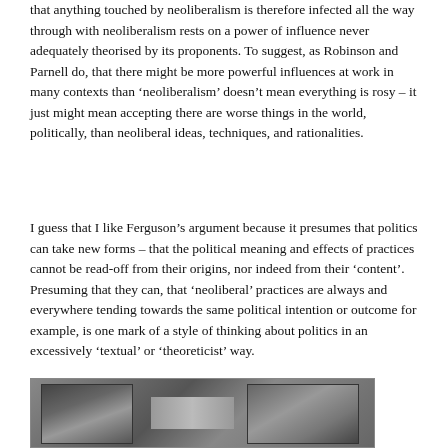that anything touched by neoliberalism is therefore infected all the way through with neoliberalism rests on a power of influence never adequately theorised by its proponents. To suggest, as Robinson and Parnell do, that there might be more powerful influences at work in many contexts than 'neoliberalism' doesn't mean everything is rosy – it just might mean accepting there are worse things in the world, politically, than neoliberal ideas, techniques, and rationalities.
I guess that I like Ferguson's argument because it presumes that politics can take new forms – that the political meaning and effects of practices cannot be read-off from their origins, nor indeed from their 'content'. Presuming that they can, that 'neoliberal' practices are always and everywhere tending towards the same political intention or outcome for example, is one mark of a style of thinking about politics in an excessively 'textual' or 'theoreticist' way.
[Figure (photo): Black and white photograph showing two scenes side by side, partially visible at the bottom of the page.]